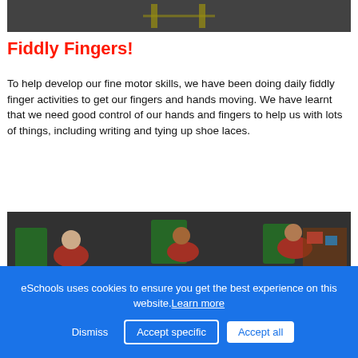[Figure (photo): Top portion of a photo, showing a dark playground or outdoor surface with yellow line markings]
Fiddly Fingers!
To help develop our fine motor skills, we have been doing daily fiddly finger activities to get our fingers and hands moving. We have learnt that we need good control of our hands and fingers to help us with lots of things, including writing and tying up shoe laces.
[Figure (photo): Children in red school uniforms sitting at tables doing fine motor skill activities with colourful shape pieces and wooden boxes in a classroom]
eSchools uses cookies to ensure you get the best experience on this website. Learn more
Dismiss  Accept specific  Accept all